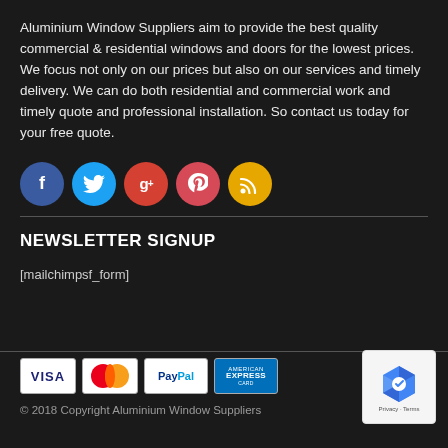Aluminium Window Suppliers aim to provide the best quality commercial & residential windows and doors for the lowest prices. We focus not only on our prices but also on our services and timely delivery. We can do both residential and commercial work and timely quote and professional installation. So contact us today for your free quote.
[Figure (infographic): Row of five social media icon buttons: Facebook (blue), Twitter (cyan), Google+ (orange-red), Pinterest (pink-red), RSS (gold/yellow)]
NEWSLETTER SIGNUP
[mailchimpsf_form]
[Figure (infographic): Payment method logos: VISA, MasterCard, PayPal, American Express, and a reCAPTCHA badge]
© 2018 Copyright Aluminium Window Suppliers